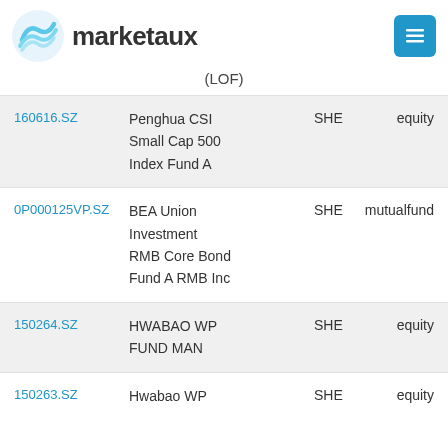marketaux
(LOF)
| Ticker | Name | Exchange | Type |
| --- | --- | --- | --- |
| 160616.SZ | Penghua CSI Small Cap 500 Index Fund A | SHE | equity |
| 0P000125VP.SZ | BEA Union Investment RMB Core Bond Fund A RMB Inc | SHE | mutualfund |
| 150264.SZ | HWABAO WP FUND MAN | SHE | equity |
| 150263.SZ | Hwabao WP | SHE | equity |